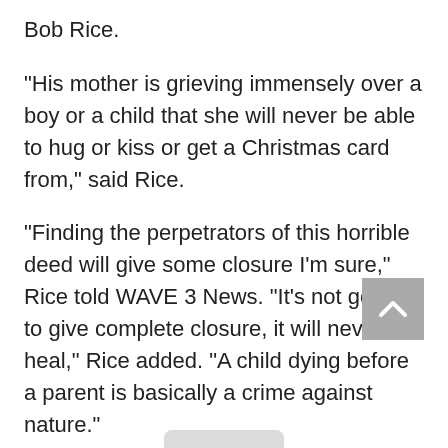Bob Rice.
"His mother is grieving immensely over a boy or a child that she will never be able to hug or kiss or get a Christmas card from," said Rice.
"Finding the perpetrators of this horrible deed will give some closure I'm sure," Rice told WAVE 3 News. "It's not going to give complete closure, it will never heal," Rice added. "A child dying before a parent is basically a crime against nature."
The family is offering a $10,000 reward for information leading to the arrest and conviction of the person responsible for killing Demuth.